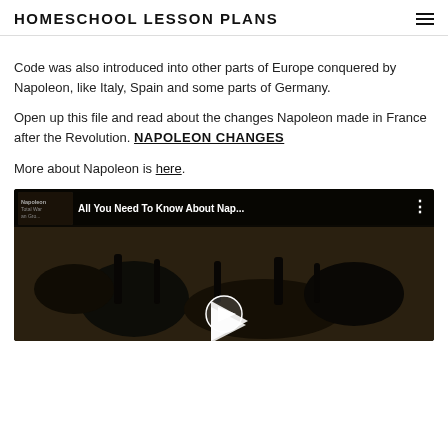HOMESCHOOL LESSON PLANS
Code was also introduced into other parts of Europe conquered by Napoleon, like Italy, Spain and some parts of Germany.
Open up this file and read about the changes Napoleon made in France after the Revolution. NAPOLEON CHANGES
More about Napoleon is here.
[Figure (screenshot): YouTube video thumbnail showing 'All You Need To Know About Nap...' with a play button overlay and dark battle scene imagery]